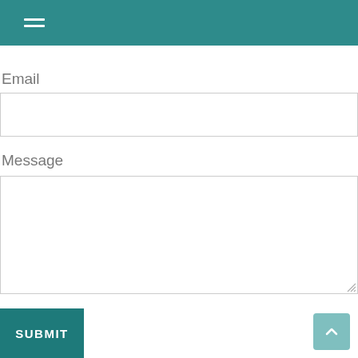[Figure (screenshot): Teal navigation header bar with hamburger menu icon (three horizontal white lines)]
Email
[Figure (screenshot): Empty email input text field with light border]
Message
[Figure (screenshot): Empty message textarea with light border and resize handle]
SUBMIT
[Figure (screenshot): Scroll to top button with upward chevron arrow, teal background, bottom right corner]